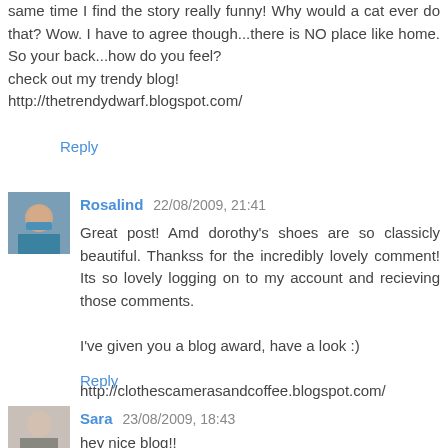same time I find the story really funny! Why would a cat ever do that? Wow. I have to agree though...there is NO place like home. So your back...how do you feel?
check out my trendy blog!
http://thetrendydwarf.blogspot.com/
Reply
[Figure (photo): Avatar photo of Rosalind, woman with blue scarf]
Rosalind  22/08/2009, 21:41
Great post! Amd dorothy's shoes are so classicly beautiful. Thankss for the incredibly lovely comment! Its so lovely logging on to my account and recieving those comments.

I've given you a blog award, have a look :)

http://clothescamerasandcoffee.blogspot.com/
Reply
[Figure (photo): Avatar photo of Sara, woman in black and white]
Sara  23/08/2009, 18:43
hey nice blog!!